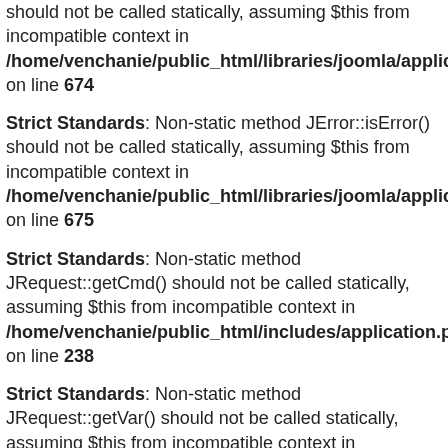should not be called statically, assuming $this from incompatible context in /home/venchanie/public_html/libraries/joomla/application/a on line 674
Strict Standards: Non-static method JError::isError() should not be called statically, assuming $this from incompatible context in /home/venchanie/public_html/libraries/joomla/application/a on line 675
Strict Standards: Non-static method JRequest::getCmd() should not be called statically, assuming $this from incompatible context in /home/venchanie/public_html/includes/application.php on line 238
Strict Standards: Non-static method JRequest::getVar() should not be called statically, assuming $this from incompatible context in /home/venchanie/public_html/libraries/joomla/environment on line 255